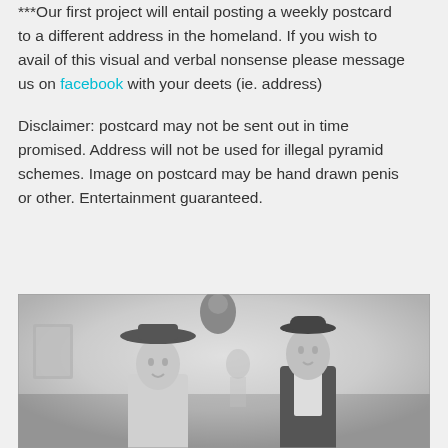***Our first project will entail posting a weekly postcard to a different address in the homeland. If you wish to avail of this visual and verbal nonsense please message us on facebook with your deets (ie. address)
Disclaimer: postcard may not be sent out in time promised. Address will not be used for illegal pyramid schemes. Image on postcard may be hand drawn penis or other. Entertainment guaranteed.
[Figure (photo): Black and white photograph of two people wearing bowler/top hats standing indoors, with artwork visible on the wall behind them including what appears to be a decorative skull figure.]